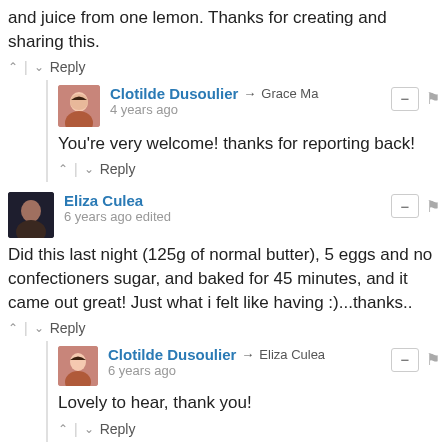and juice from one lemon. Thanks for creating and sharing this.
↑ | ↓ Reply
Clotilde Dusoulier → Grace Ma
4 years ago
You're very welcome! thanks for reporting back!
↑ | ↓ Reply
Eliza Culea
6 years ago edited
Did this last night (125g of normal butter), 5 eggs and no confectioners sugar, and baked for 45 minutes, and it came out great! Just what i felt like having :)...thanks..
↑ | ↓ Reply
Clotilde Dusoulier → Eliza Culea
6 years ago
Lovely to hear, thank you!
↑ | ↓ Reply
Janet
6 years ago